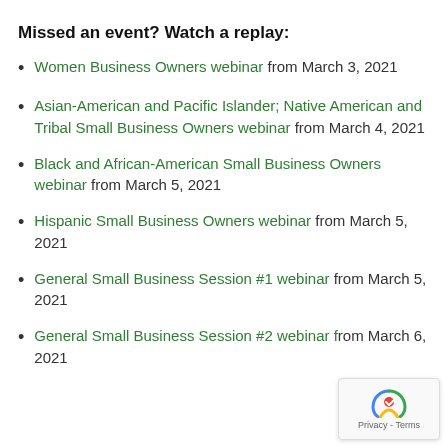Missed an event? Watch a replay:
Women Business Owners webinar from March 3, 2021
Asian-American and Pacific Islander; Native American and Tribal Small Business Owners webinar from March 4, 2021
Black and African-American Small Business Owners webinar from March 5, 2021
Hispanic Small Business Owners webinar from March 5, 2021
General Small Business Session #1 webinar from March 5, 2021
General Small Business Session #2 webinar from March 6, 2021